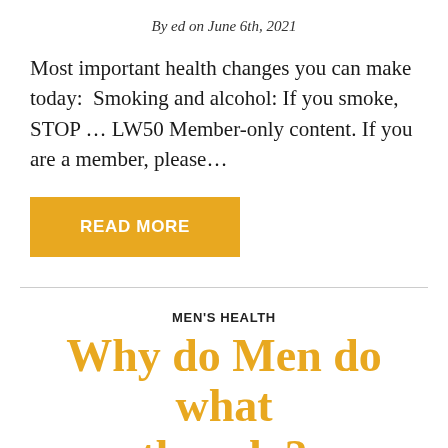By ed on June 6th, 2021
Most important health changes you can make today:  Smoking and alcohol: If you smoke, STOP … LW50 Member-only content. If you are a member, please…
READ MORE
MEN'S HEALTH
Why do Men do what they do?